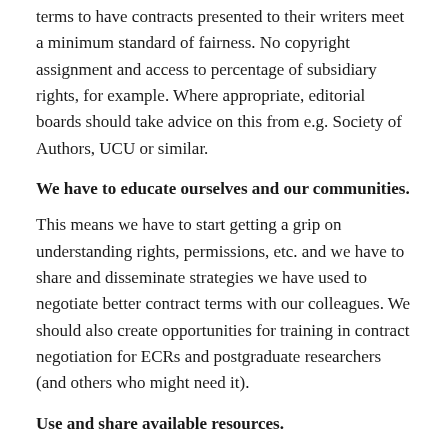terms to have contracts presented to their writers meet a minimum standard of fairness. No copyright assignment and access to percentage of subsidiary rights, for example. Where appropriate, editorial boards should take advice on this from e.g. Society of Authors, UCU or similar.
We have to educate ourselves and our communities.
This means we have to start getting a grip on understanding rights, permissions, etc. and we have to share and disseminate strategies we have used to negotiate better contract terms with our colleagues. We should also create opportunities for training in contract negotiation for ECRs and postgraduate researchers (and others who might need it).
Use and share available resources.
Those of us with agents, membership to the Society of Authors, or with other means of having contracts vetted and scrutinised by experts